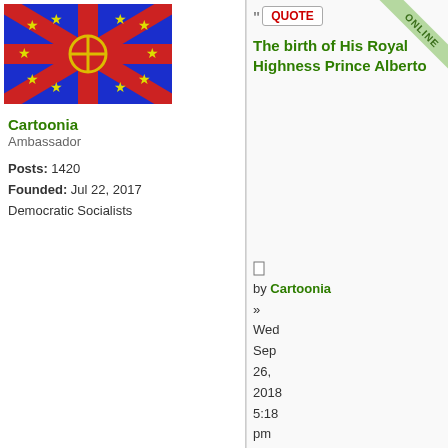[Figure (other): Flag of Cartoonia — blue background with red St. Andrew's cross and red horizontal/vertical bars forming a Union Jack-style pattern, with a gold circle and cross in the center, surrounded by yellow stars]
Cartoonia
Ambassador

Posts: 1420
Founded: Jul 22, 2017
Democratic Socialists
QUOTE
The birth of His Royal Highness Prince Alberto
by Cartoonia
» Wed Sep 26, 2018 5:18 pm